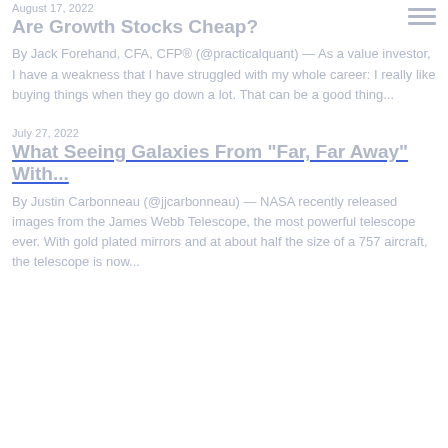August 17, 2022
Are Growth Stocks Cheap?
By Jack Forehand, CFA, CFP® (@practicalquant) — As a value investor, I have a weakness that I have struggled with my whole career: I really like buying things when they go down a lot. That can be a good thing...
July 27, 2022
What Seeing Galaxies From “Far, Far Away” With...
By Justin Carbonneau (@jjcarbonneau) — NASA recently released images from the James Webb Telescope, the most powerful telescope ever. With gold plated mirrors and at about half the size of a 757 aircraft, the telescope is now...